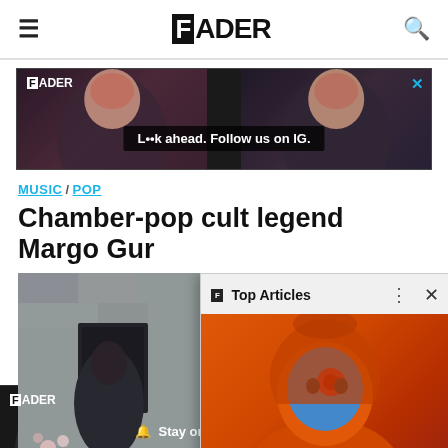THE FADER — navigation bar with hamburger menu, logo, and search icon
[Figure (screenshot): FADER advertisement banner: 'Look ahead. Follow us on IG.' with two women photos on dark background]
MUSIC / POP
Chamber-pop cult legend Margo Gur
[Figure (photo): Article photo of person against stone wall with flowers, partially obscured by popup overlay]
[Figure (screenshot): Top Articles popup overlay showing person in orange hoodie with blue face paint, with controls and article text: Jean Dawson announces new album, shares '3 HEADS']
[Figure (screenshot): FADER advertisement banner at bottom: 'Stay on. Follow us on IG.' with person photos on dark background]